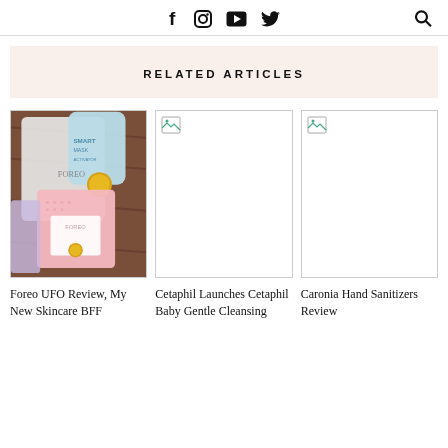Social icons: f, instagram, youtube, twitter | Search icon
RELATED ARTICLES
[Figure (photo): Photo of Foreo UFO skincare device products including pink face mask packets and blue device on a wooden surface]
Foreo UFO Review, My New Skincare BFF
[Figure (photo): Broken/missing image placeholder for Cetaphil Baby article]
Cetaphil Launches Cetaphil Baby Gentle Cleansing
[Figure (photo): Broken/missing image placeholder for Caronia Hand Sanitizers article]
Caronia Hand Sanitizers Review